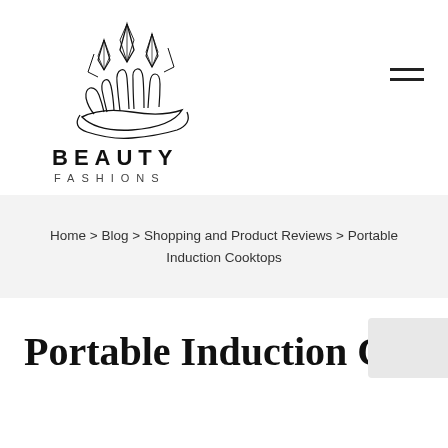[Figure (logo): Beauty Fashions logo: line-art hand holding geometric crystal/gem shapes, with brand name BEAUTY FASHIONS below]
Home > Blog > Shopping and Product Reviews > Portable Induction Cooktops
Portable Induction Cooktop